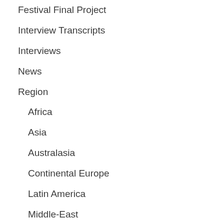Festival Final Project
Interview Transcripts
Interviews
News
Region
Africa
Asia
Australasia
Continental Europe
Latin America
Middle-East
North America
UK & Ireland